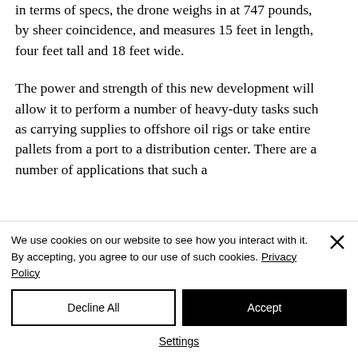in terms of specs, the drone weighs in at 747 pounds, by sheer coincidence, and measures 15 feet in length, four feet tall and 18 feet wide.
The power and strength of this new development will allow it to perform a number of heavy-duty tasks such as carrying supplies to offshore oil rigs or take entire pallets from a port to a distribution center. There are a number of applications that such a
We use cookies on our website to see how you interact with it. By accepting, you agree to our use of such cookies. Privacy Policy
Decline All
Accept
Settings